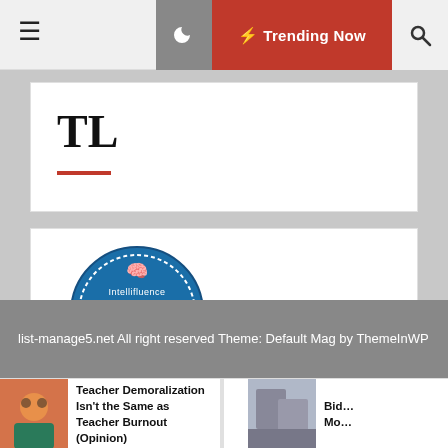Trending Now
TL
[Figure (logo): Intellifluence Trusted Blogger badge — circular blue badge with golden ribbon banner reading BLOGGER]
list-manage5.net All right reserved Theme: Default Mag by ThemeInWP
Teacher Demoralization Isn’t the Same as Teacher Burnout (Opinion)
Bid… Mo…